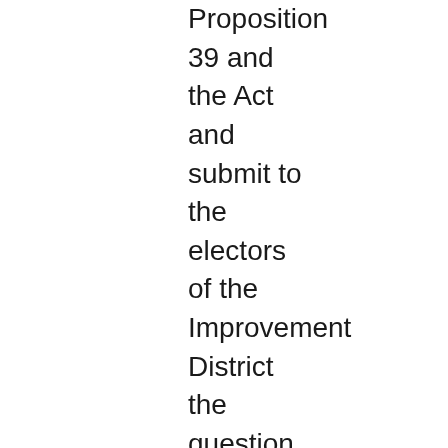Proposition 39 and the Act and submit to the electors of the Improvement District the question of whether bonds of the District in the aggregate principal amount of $97,000,000